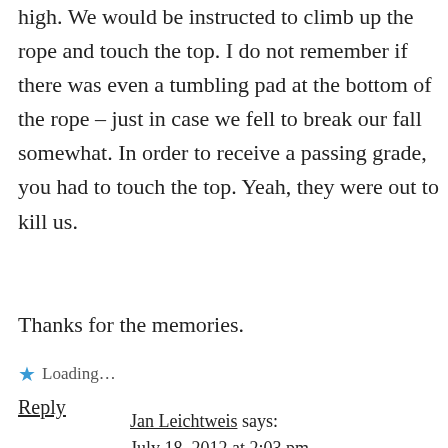high. We would be instructed to climb up the rope and touch the top. I do not remember if there was even a tumbling pad at the bottom of the rope – just in case we fell to break our fall somewhat. In order to receive a passing grade, you had to touch the top. Yeah, they were out to kill us.
Thanks for the memories.
Loading…
Reply
Jan Leichtweis says: July 18, 2012 at 2:03 pm